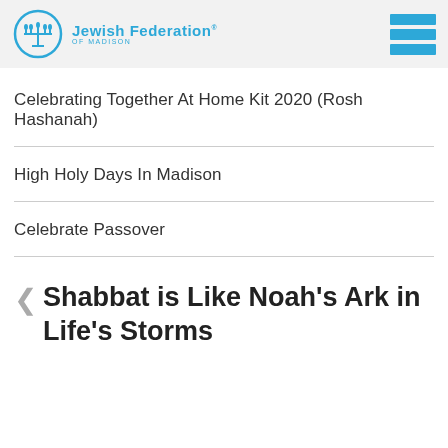Jewish Federation of Madison
Celebrating Together At Home Kit 2020 (Rosh Hashanah)
High Holy Days In Madison
Celebrate Passover
Shabbat is Like Noah's Ark in Life's Storms